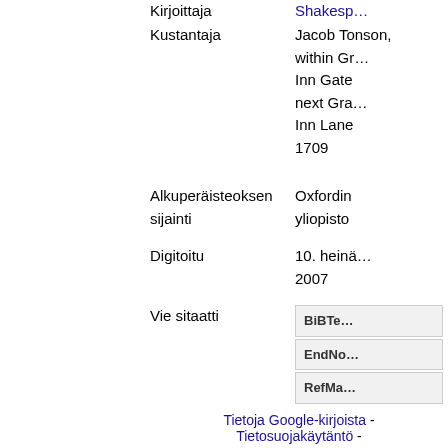Kirjoittaja
Shakespeare
Kustantaja
Jacob Tonson, within Gr[ay] Inn Gate next Gra[y] Inn Lane 1709
Alkuperäisteoksen sijainti
Oxfordin yliopisto
Digitoitu
10. heinä[kuuta] 2007
Vie sitaatti
BiBTe[x]
EndNo[te]
RefMa[n]
Tietoja Google-kirjoista - Tietosuojakäytäntö -